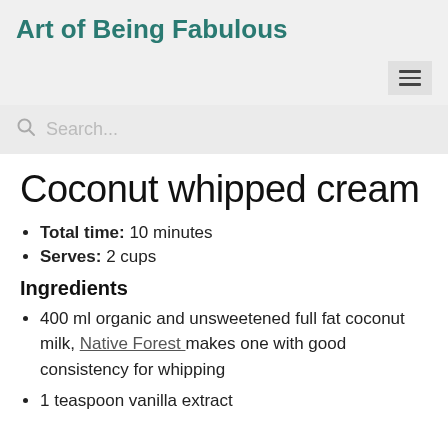Art of Being Fabulous
Coconut whipped cream
Total time: 10 minutes
Serves: 2 cups
Ingredients
400 ml organic and unsweetened full fat coconut milk, Native Forest makes one with good consistency for whipping
1 teaspoon vanilla extract